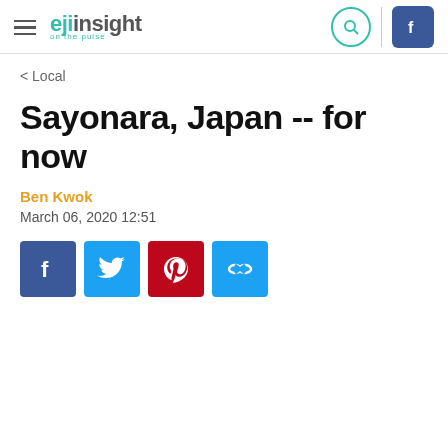ejinsight on the pulse
< Local
Sayonara, Japan -- for now
Ben Kwok
March 06, 2020 12:51
[Figure (other): Social sharing buttons: Facebook, Twitter, Pinterest, Link]